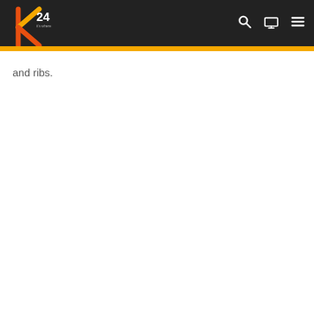K24 navigation bar with logo, search, TV, and menu icons
and ribs.